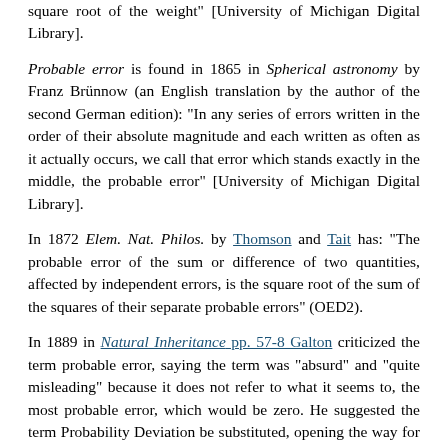square root of the weight" [University of Michigan Digital Library].
Probable error is found in 1865 in Spherical astronomy by Franz Brünnow (an English translation by the author of the second German edition): "In any series of errors written in the order of their absolute magnitude and each written as often as it actually occurs, we call that error which stands exactly in the middle, the probable error" [University of Michigan Digital Library].
In 1872 Elem. Nat. Philos. by Thomson and Tait has: "The probable error of the sum or difference of two quantities, affected by independent errors, is the square root of the sum of the squares of their separate probable errors" (OED2).
In 1889 in Natural Inheritance pp. 57-8 Galton criticized the term probable error, saying the term was "absurd" and "quite misleading" because it does not refer to what it seems to, the most probable error, which would be zero. He suggested the term Probability Deviation be substituted, opening the way for Pearson to introduce the term standard deviation (Tankard, p. 48).
"Probable error" went out of use in the early 20th century to be replaced by "standard error"; the probable error is 0.67449 times